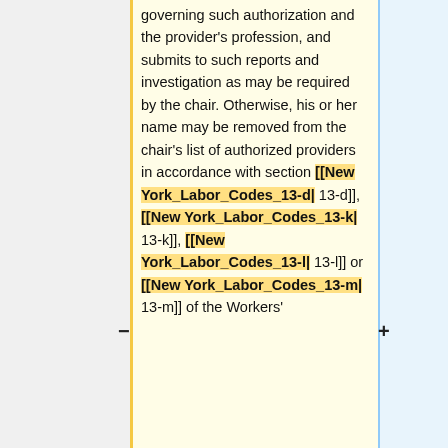governing such authorization and the provider's profession, and submits to such reports and investigation as may be required by the chair. Otherwise, his or her name may be removed from the chair's list of authorized providers in accordance with section [[New York_Labor_Codes_13-d| 13-d]], [[New York_Labor_Codes_13-k| 13-k]], [[New York_Labor_Codes_13-l| 13-l]] or [[New York_Labor_Codes_13-m| 13-m]] of the Workers'